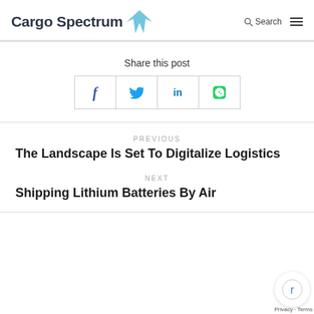Cargo Spectrum
Share this post
[Figure (infographic): Social share buttons: Facebook (f), Twitter (bird icon), LinkedIn (in), WhatsApp (phone icon)]
PREVIOUS
The Landscape Is Set To Digitalize Logistics
NEXT
Shipping Lithium Batteries By Air